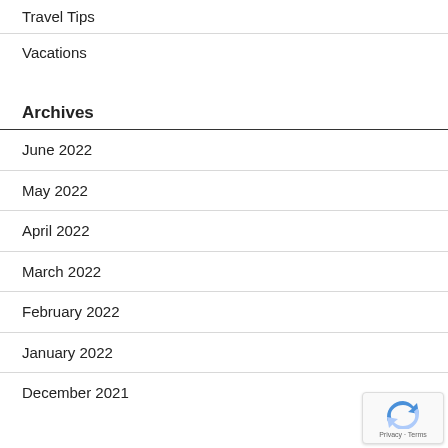Travel Tips
Vacations
Archives
June 2022
May 2022
April 2022
March 2022
February 2022
January 2022
December 2021